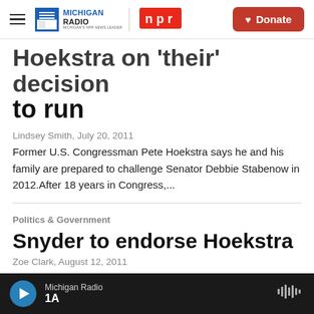Michigan Radio NPR | Donate
Hoekstra on 'their' decision to run
Lindsey Smith,  July 20, 2011
Former U.S. Congressman Pete Hoekstra says he and his family are prepared to challenge Senator Debbie Stabenow in 2012.After 18 years in Congress,...
Politics & Government
Snyder to endorse Hoekstra
Zoe Clark,  August 12, 2011
Michigan Radio | 1A